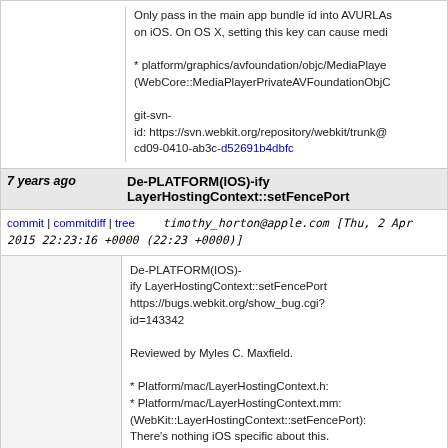Only pass in the main app bundle id into AVURLAs on iOS. On OS X, setting this key can cause medi

* platform/graphics/avfoundation/objc/MediaPlaye (WebCore::MediaPlayerPrivateAVFoundationObjC

git-svn-id: https://svn.webkit.org/repository/webkit/trunk@ cd09-0410-ab3c-d52691b4dbfc
7 years ago   De-PLATFORM(IOS)-ify LayerHostingContext::setFencePort
commit | commitdiff | tree   timothy_horton@apple.com [Thu, 2 Apr 2015 22:23:16 +0000 (22:23 +0000)]
De-PLATFORM(IOS)-ify LayerHostingContext::setFencePort https://bugs.webkit.org/show_bug.cgi?id=143342

Reviewed by Myles C. Maxfield.

* Platform/mac/LayerHostingContext.h:
* Platform/mac/LayerHostingContext.mm:
(WebKit::LayerHostingContext::setFencePort):
There's nothing iOS specific about this.

git-svn-